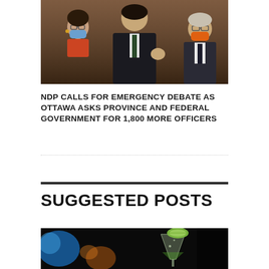[Figure (photo): Politicians in a chamber setting wearing face masks during COVID-19; a man in a dark suit gesturing with his hand, flanked by two masked colleagues in the background]
NDP CALLS FOR EMERGENCY DEBATE AS OTTAWA ASKS PROVINCE AND FEDERAL GOVERNMENT FOR 1,800 MORE OFFICERS
SUGGESTED POSTS
[Figure (photo): A cocktail glass with a lime wedge on the rim, against a dark blurred bar background with colorful bokeh lights]